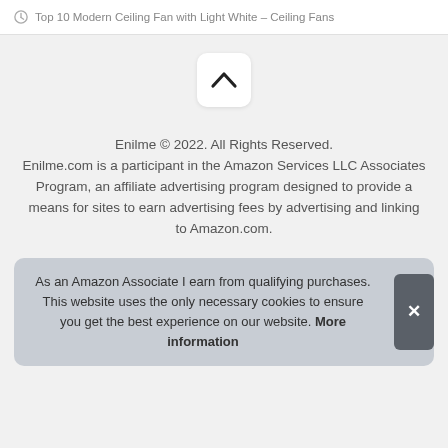Top 10 Modern Ceiling Fan with Light White – Ceiling Fans
[Figure (other): Scroll-to-top button with upward chevron arrow on white rounded rectangle background]
Enilme © 2022. All Rights Reserved.
Enilme.com is a participant in the Amazon Services LLC Associates Program, an affiliate advertising program designed to provide a means for sites to earn advertising fees by advertising and linking to Amazon.com.
As an Amazon Associate I earn from qualifying purchases. This website uses the only necessary cookies to ensure you get the best experience on our website. More information